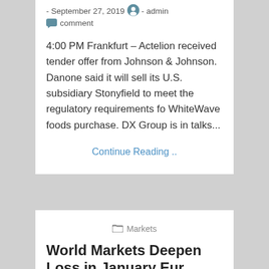- September 27, 2019  - admin
comment
4:00 PM Frankfurt – Actelion received tender offer from Johnson & Johnson. Danone said it will sell its U.S. subsidiary Stonyfield to meet the regulatory requirements fo WhiteWave foods purchase. DX Group is in talks...
Continue Reading ..
Markets
World Markets Deepen Loss in January Eur...